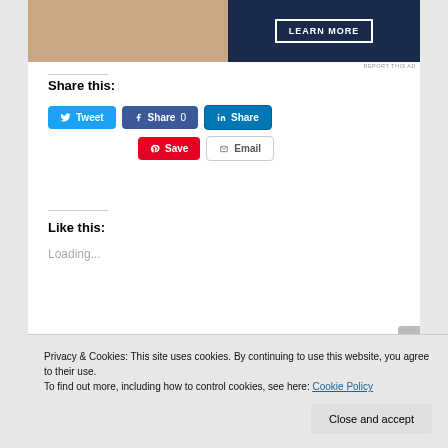[Figure (photo): Advertisement image with person and dark blue panel with LEARN MORE button]
REPORT THIS AD
Share this:
Tweet
Share 0
Share
Save
Email
Like this:
Loading...
Privacy & Cookies: This site uses cookies. By continuing to use this website, you agree to their use.
To find out more, including how to control cookies, see here: Cookie Policy
Close and accept